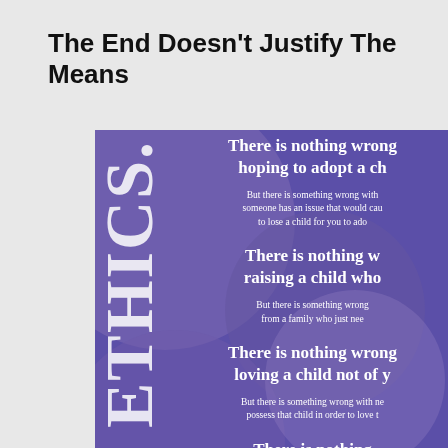The End Doesn't Justify The Means
[Figure (infographic): Purple infographic with 'ETHICS' written vertically on the left side and alternating large and small text blocks reading 'There is nothing wrong hoping to adopt a ch...', 'But there is something wrong with... someone has an issue that would cau... to lose a child for you to ado...', 'There is nothing w... raising a child who...', 'But there is something wrong... from a family who just nee...', 'There is nothing wrong... loving a child not of y...', 'But there is something wrong with ne... possess that child in order to love t...', and 'There is nothing...' at the bottom.]